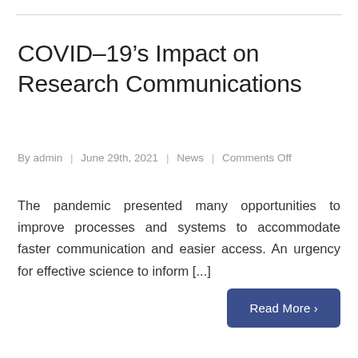COVID–19's Impact on Research Communications
By admin | June 29th, 2021 | News | Comments Off
The pandemic presented many opportunities to improve processes and systems to accommodate faster communication and easier access. An urgency for effective science to inform [...]
Read More >